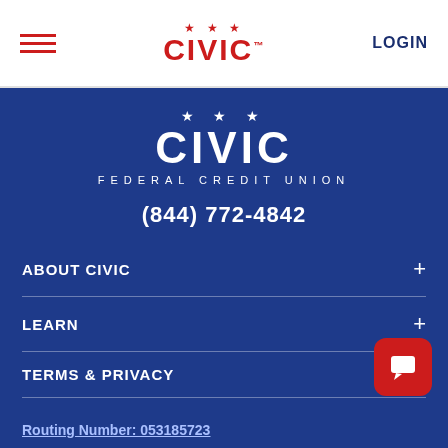[Figure (logo): Civic Federal Credit Union logo in red with hamburger menu and LOGIN button in header]
[Figure (logo): Civic Federal Credit Union white logo on dark blue background]
(844) 772-4842
ABOUT CIVIC +
LEARN +
TERMS & PRIVACY
Routing Number: 053185723